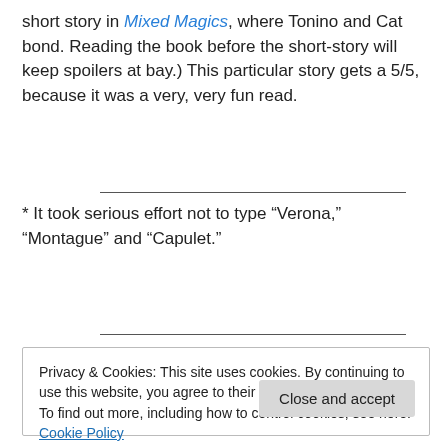short story in Mixed Magics, where Tonino and Cat bond. Reading the book before the short-story will keep spoilers at bay.) This particular story gets a 5/5, because it was a very, very fun read.
* It took serious effort not to type “Verona,” “Montague” and “Capulet.”
Privacy & Cookies: This site uses cookies. By continuing to use this website, you agree to their use.
To find out more, including how to control cookies, see here: Cookie Policy